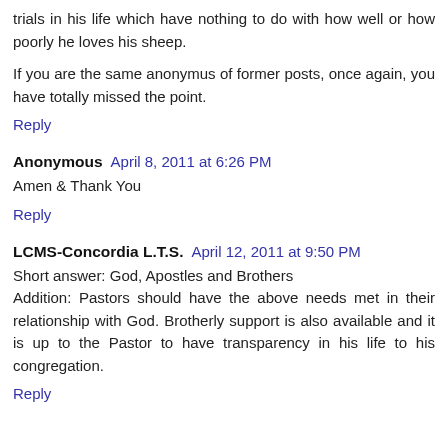trials in his life which have nothing to do with how well or how poorly he loves his sheep.
If you are the same anonymus of former posts, once again, you have totally missed the point.
Reply
Anonymous  April 8, 2011 at 6:26 PM
Amen & Thank You
Reply
LCMS-Concordia L.T.S.  April 12, 2011 at 9:50 PM
Short answer: God, Apostles and Brothers Addition: Pastors should have the above needs met in their relationship with God. Brotherly support is also available and it is up to the Pastor to have transparency in his life to his congregation.
Reply